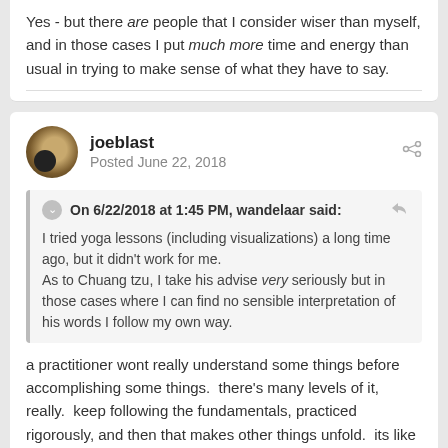Yes - but there are people that I consider wiser than myself, and in those cases I put much more time and energy than usual in trying to make sense of what they have to say.
joeblast
Posted June 22, 2018
On 6/22/2018 at 1:45 PM, wandelaar said:
I tried yoga lessons (including visualizations) a long time ago, but it didn't work for me.
As to Chuang tzu, I take his advise very seriously but in those cases where I can find no sensible interpretation of his words I follow my own way.
a practitioner wont really understand some things before accomplishing some things.  there's many levels of it, really.  keep following the fundamentals, practiced rigorously, and then that makes other things unfold.  its like going back and reading a